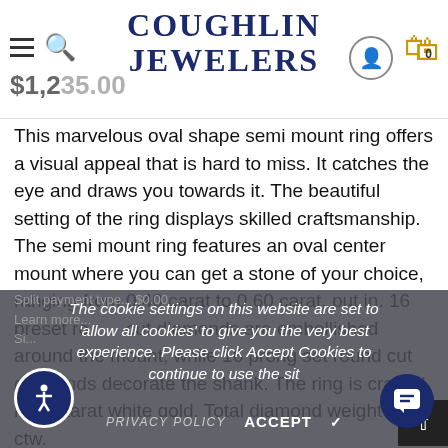Coughlin Jewelers — $1,235.00
This marvelous oval shape semi mount ring offers a visual appeal that is hard to miss. It catches the eye and draws you towards it. The beautiful setting of the ring displays skilled craftsmanship. The semi mount ring features an oval center mount where you can get a stone of your choice, ranging from 0.40 carat to 0.60 carat, put in. 16 preset round cut diamonds are embellished around the mount, while 16 prong set round cut diamonds decorate the shank. The ring is crafted in 14 karat white gold. Total diamond weight is 1/4 ctw.
The cookie settings on this website are set to 'allow all cookies' to give you the very best experience. Please click Accept Cookies to continue to use the site.